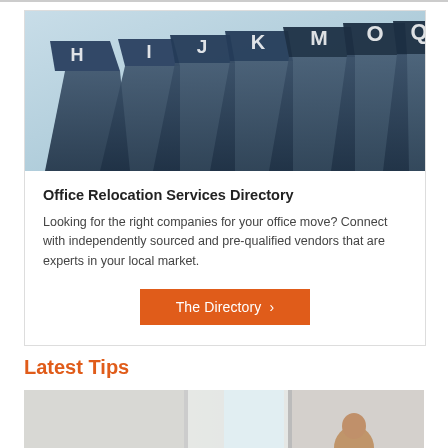[Figure (photo): Photo of dark blue alphabetical file folder tabs labeled H, I, J, K, M, O, Q, S on a light blue background]
Office Relocation Services Directory
Looking for the right companies for your office move? Connect with independently sourced and pre-qualified vendors that are experts in your local market.
The Directory >
Latest Tips
[Figure (photo): Photo showing an office interior with people, partially cropped at bottom of page]